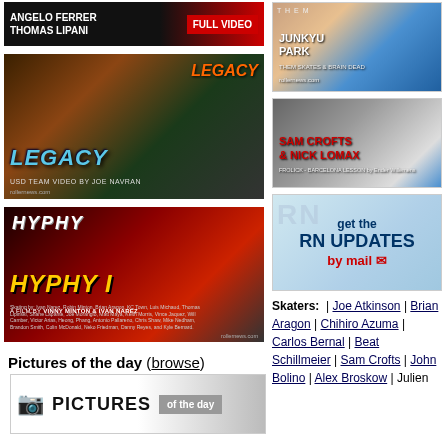[Figure (photo): Dark banner with text ANGELO FERRER THOMAS LIPANI and FULL VIDEO button]
[Figure (photo): LEGACY - USD Team Video by Joe Navran rollerblade video thumbnail]
[Figure (photo): HYPHY I - A Film by Vinny Minton and Ivan Narez inline skating video thumbnail]
Pictures of the day (browse)
[Figure (photo): Pictures of the day banner with camera icon]
[Figure (photo): Junkyu Park - Them Skates & Brain Dead thumbnail]
[Figure (photo): Sam Crofts & Nick Lomax - Frolick Barcelona thumbnail]
[Figure (photo): Get the RN Updates by mail banner]
Skaters: | Joe Atkinson | Brian Aragon | Chihiro Azuma | Carlos Bernal | Beat Schillmeier | Sam Crofts | John Bolino | Alex Broskow | Julien